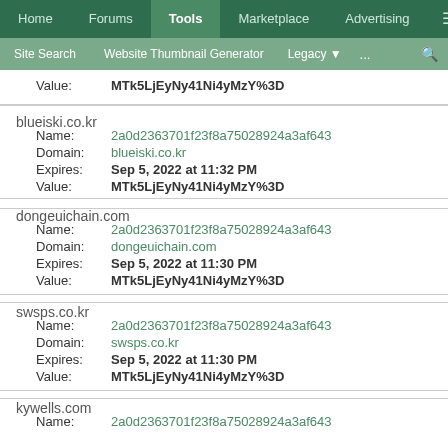Home | Forums | Tools | Marketplace | Advertising | ≡
Site Search | Website Thumbnail Generator | Legacy ▾ | ... | 🔍
Value: MTk5LjEyNy41Ni4yMzY%3D
blueiski.co.kr
Name: 2a0d2363701f23f8a75028924a3af643
Domain: blueiski.co.kr
Expires: Sep 5, 2022 at 11:32 PM
Value: MTk5LjEyNy41Ni4yMzY%3D
dongeuichain.com
Name: 2a0d2363701f23f8a75028924a3af643
Domain: dongeuichain.com
Expires: Sep 5, 2022 at 11:30 PM
Value: MTk5LjEyNy41Ni4yMzY%3D
swsps.co.kr
Name: 2a0d2363701f23f8a75028924a3af643
Domain: swsps.co.kr
Expires: Sep 5, 2022 at 11:30 PM
Value: MTk5LjEyNy41Ni4yMzY%3D
kywells.com
Name: 2a0d2363701f23f8a75028924a3af643